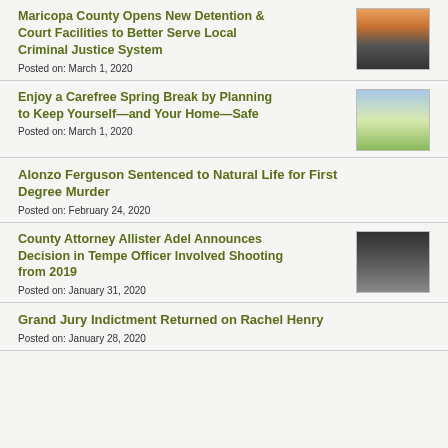Maricopa County Opens New Detention & Court Facilities to Better Serve Local Criminal Justice System
Posted on: March 1, 2020
[Figure (photo): Photo of a government building at dusk with orange sky]
Enjoy a Carefree Spring Break by Planning to Keep Yourself—and Your Home—Safe
Posted on: March 1, 2020
[Figure (photo): Photo of a residential house with garage]
Alonzo Ferguson Sentenced to Natural Life for First Degree Murder
Posted on: February 24, 2020
County Attorney Allister Adel Announces Decision in Tempe Officer Involved Shooting from 2019
Posted on: January 31, 2020
[Figure (photo): Photo of a woman (County Attorney Allister Adel) against a dark background]
Grand Jury Indictment Returned on Rachel Henry
Posted on: January 28, 2020